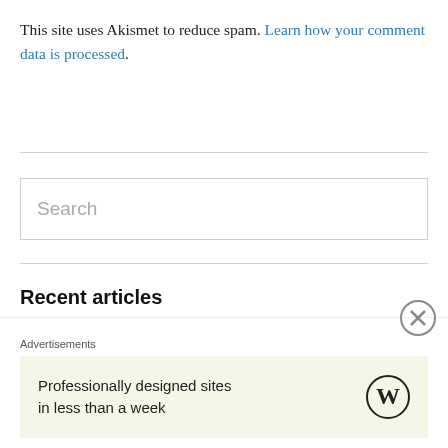This site uses Akismet to reduce spam. Learn how your comment data is processed.
Search
Recent articles
Rafael Nadal and John McEnroe, and many more took to court in support of the Tennis Plays for Peace
Novak Djokovic is now in his eighth career Wimbledon final
A series of ethical scandals forced PM Boris Johnson to resign
The American Revolution was an ideological and political revolution that
Advertisements
Professionally designed sites in less than a week